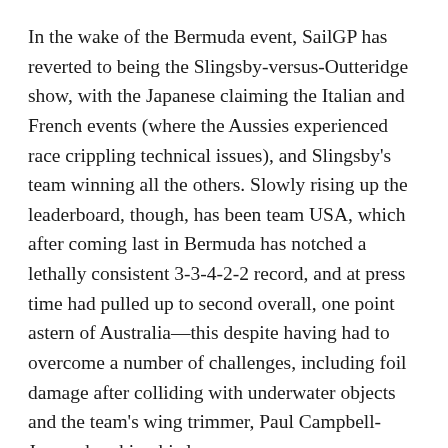In the wake of the Bermuda event, SailGP has reverted to being the Slingsby-versus-Outteridge show, with the Japanese claiming the Italian and French events (where the Aussies experienced race crippling technical issues), and Slingsby's team winning all the others. Slowly rising up the leaderboard, though, has been team USA, which after coming last in Bermuda has notched a lethally consistent 3-3-4-2-2 record, and at press time had pulled up to second overall, one point astern of Australia—this despite having had to overcome a number of challenges, including foil damage after colliding with underwater objects and the team's wing trimmer, Paul Campbell-James, breaking his leg.
Of course, chop Jimmy Spithill in half and out will leap a kangaroo. Nonetheless, the Aussie is also very much an American these days as well, having lived in San Diego for